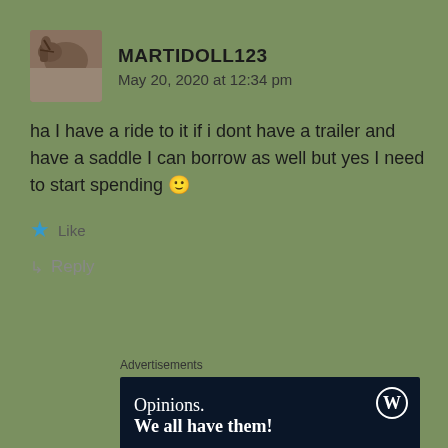[Figure (photo): User avatar thumbnail showing a horse close-up photo]
MARTIDOLL123
May 20, 2020 at 12:34 pm
ha I have a ride to it if i dont have a trailer and have a saddle I can borrow as well but yes I need to start spending 🙂
★ Like
↳ Reply
Advertisements
[Figure (screenshot): WordPress advertisement banner with dark navy background showing WordPress logo and text 'Opinions. We all have them!']